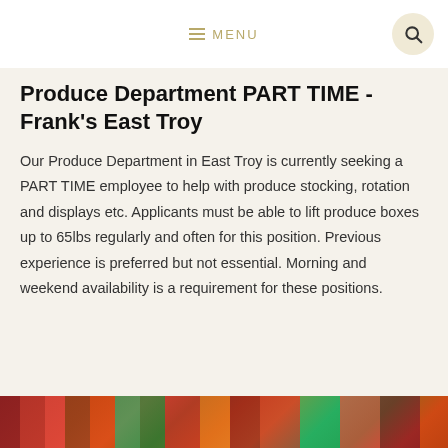MENU
Produce Department PART TIME - Frank's East Troy
Our Produce Department in East Troy is currently seeking a PART TIME employee to help with produce stocking, rotation and displays etc. Applicants must be able to lift produce boxes up to 65lbs regularly and often for this position. Previous experience is preferred but not essential. Morning and weekend availability is a requirement for these positions.
[Figure (photo): Colorful produce display showing vegetables and fruits in red, green, and orange tones at the bottom of the page]